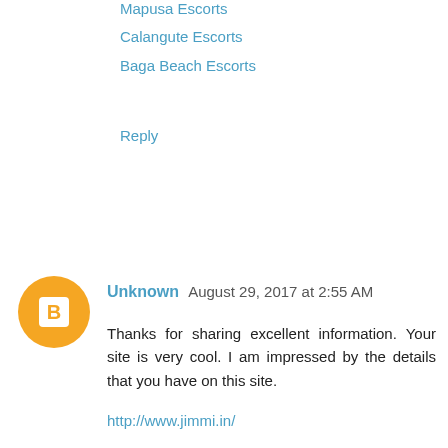Mapusa Escorts
Calangute Escorts
Baga Beach Escorts
Reply
Unknown  August 29, 2017 at 2:55 AM
Thanks for sharing excellent information. Your site is very cool. I am impressed by the details that you have on this site.
http://www.jimmi.in/
Reply
Anshita Sharma  September 8, 2017 at 10:32 PM
I am Anta Kusuma. I am calling material fashioner for site page. genuinely focal.

http://www.antakusuma.com/ | http://www.antakusuma.com/delhi-escorts.html |
Reply